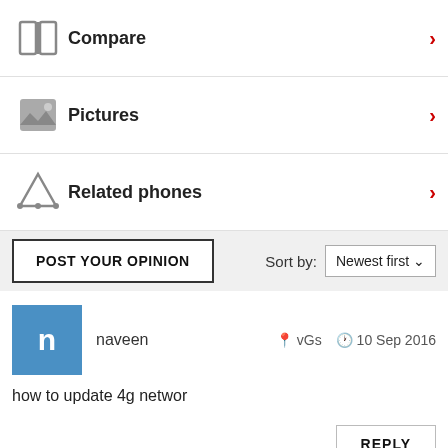Compare
Pictures
Related phones
POST YOUR OPINION | Sort by: Newest first
naveen   vGs   10 Sep 2016
how to update 4g networ
REPLY